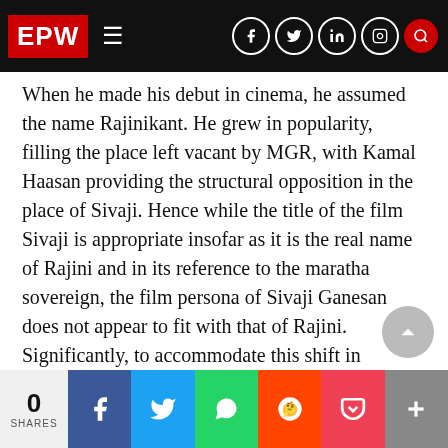EPW
When he made his debut in cinema, he assumed the name Rajinikant. He grew in popularity, filling the place left vacant by MGR, with Kamal Haasan providing the structural opposition in the place of Sivaji. Hence while the title of the film Sivaji is appropriate insofar as it is the real name of Rajini and in its reference to the maratha sovereign, the film persona of Sivaji Ganesan does not appear to fit with that of Rajini. Significantly, to accommodate this shift in valence, Rajini re-identifies himself as MGR in the film.
AVM, the producers of the film Sivaji, were the producers of Parasakthi that made a star of Siv…
0 SHARES